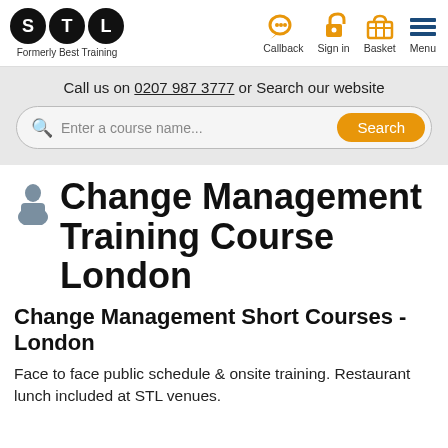[Figure (logo): STL logo - three black circles with white letters S, T, L. Below: 'Formerly Best Training']
[Figure (infographic): Navigation icons: orange callback chat bubble, orange padlock sign-in, orange basket, blue horizontal lines menu icon with labels Callback, Sign in, Basket, Menu]
Call us on 0207 987 3777 or Search our website
Enter a course name...
Change Management Training Course London
Change Management Short Courses - London
Face to face public schedule & onsite training. Restaurant lunch included at STL venues.